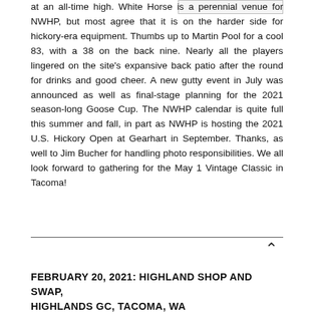at an all-time high. White Horse is a perennial venue for NWHP, but most agree that it is on the harder side for hickory-era equipment. Thumbs up to Martin Pool for a cool 83, with a 38 on the back nine. Nearly all the players lingered on the site's expansive back patio after the round for drinks and good cheer. A new gutty event in July was announced as well as final-stage planning for the 2021 season-long Goose Cup. The NWHP calendar is quite full this summer and fall, in part as NWHP is hosting the 2021 U.S. Hickory Open at Gearhart in September. Thanks, as well to Jim Bucher for handling photo responsibilities. We all look forward to gathering for the May 1 Vintage Classic in Tacoma!
FEBRUARY 20, 2021: HIGHLAND SHOP AND SWAP, HIGHLANDS GC, TACOMA, WA